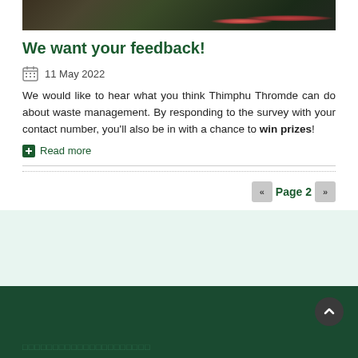[Figure (photo): Partial photo strip showing outdoor waste/garbage scene with green vegetation]
We want your feedback!
11 May 2022
We would like to hear what you think Thimphu Thromde can do about waste management. By responding to the survey with your contact number, you'll also be in with a chance to win prizes!
Read more
Page 2
□□□□□□□□□□□□□□□□□□□□□